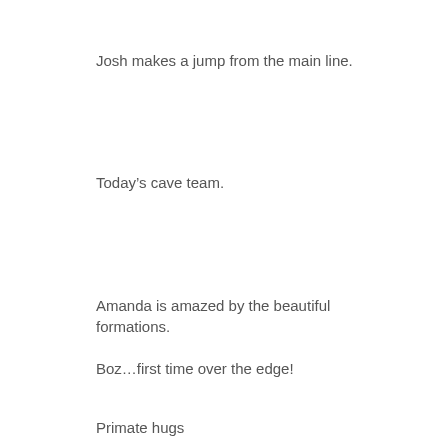Josh makes a jump from the main line.
Today's cave team.
Amanda is amazed by the beautiful formations.
Boz…first time over the edge!
Primate hugs
Our day began at 0630 with about 45 minutes of PT. Artie led the group in some light exercises followed by a refreshing swim in the ocean. Once everyone was